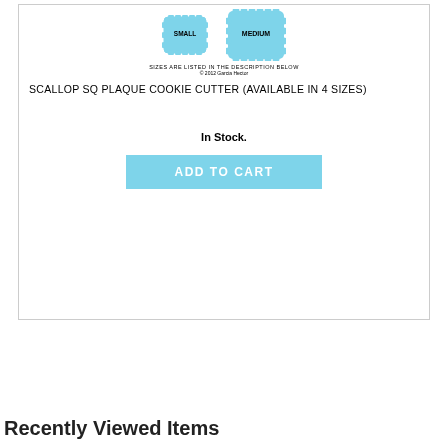[Figure (illustration): Two scallop square plaque shapes labeled SMALL and MEDIUM in light blue, with captions: 'SIZES ARE LISTED IN THE DESCRIPTION BELOW' and '© 2012 Garcia Hector']
SCALLOP SQ PLAQUE COOKIE CUTTER (AVAILABLE IN 4 SIZES)
In Stock.
ADD TO CART
Recently Viewed Items